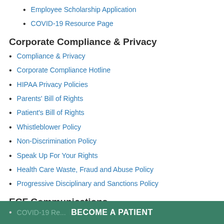Employee Scholarship Application
COVID-19 Resource Page
Corporate Compliance & Privacy
Compliance & Privacy
Corporate Compliance Hotline
HIPAA Privacy Policies
Parents' Bill of Rights
Patient's Bill of Rights
Whistleblower Policy
Non-Discrimination Policy
Speak Up For Your Rights
Health Care Waste, Fraud and Abuse Policy
Progressive Disciplinary and Sanctions Policy
ECF Communications
COVID-19 Re...
BECOME A PATIENT